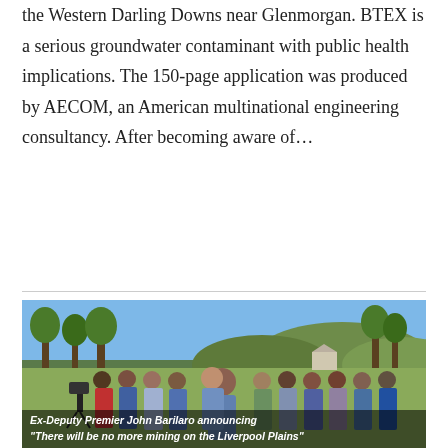the Western Darling Downs near Glenmorgan. BTEX is a serious groundwater contaminant with public health implications. The 150-page application was produced by AECOM, an American multinational engineering consultancy. After becoming aware of...
continue reading →
[Figure (photo): Outdoor group photo showing Ex-Deputy Premier John Barilaro addressing a crowd of people in a rural/farming setting with trees and hills in the background.]
Ex-Deputy Premier John Barilaro announcing "There will be no more mining on the Liverpool Plains"